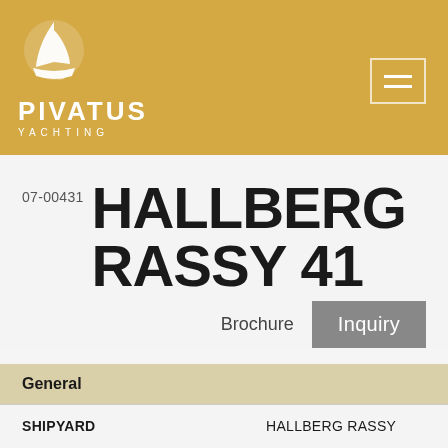[Figure (logo): Pivatus Yachting logo with decorative sailing ship emblem in white on golden background, with text PIVATUS YACHTING below]
07-00431 HALLBERG RASSY 41
Brochure
Inquiry
| General |  |
| --- | --- |
| SHIPYARD | HALLBERG RASSY |